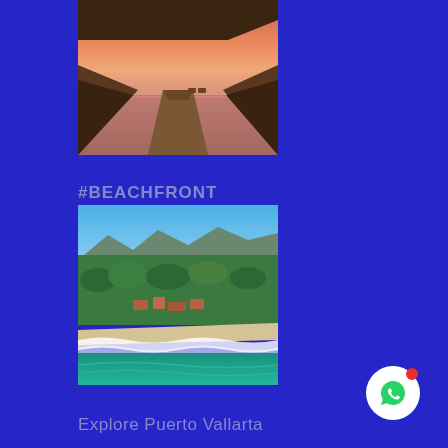[Figure (photo): Sunset view through a covered outdoor deck over an infinity pool stretching toward the ocean, warm pink and orange sky]
#BEACHFRONT
[Figure (photo): Aerial view of a beachfront property surrounded by lush tropical jungle and greenery, with white waves crashing on a sandy beach, turquoise water visible in the foreground]
Explore Puerto Vallarta
[Figure (other): WhatsApp contact button — white circle with green WhatsApp icon and a red notification dot]